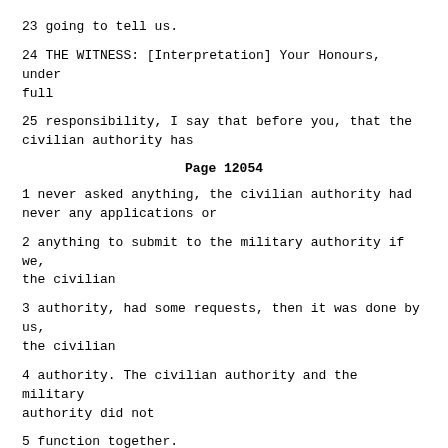23 going to tell us.
24 THE WITNESS: [Interpretation] Your Honours, under full
25 responsibility, I say that before you, that the civilian authority has
Page 12054
1 never asked anything, the civilian authority had never any applications or
2 anything to submit to the military authority if we, the civilian
3 authority, had some requests, then it was done by us, the civilian
4 authority. The civilian authority and the military authority did not
5 function together.
6 MR. SCOTT:
7 Q. Sir, are you familiar with -- isn't -- excuse me. Isn't it true,
8 sir, that the members of the Convicts Battalion Didn't Falli...